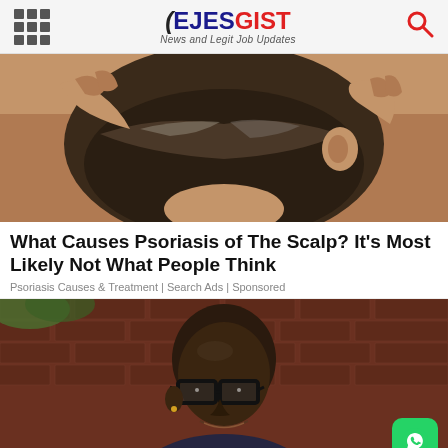EJESGIST - News and Legit Job Updates
[Figure (photo): Close-up photo of a person scratching the back of their scalp/neck with both hands, showing grey-streaked hair]
What Causes Psoriasis of The Scalp? It's Most Likely Not What People Think
Psoriasis Causes & Treatment | Search Ads | Sponsored
[Figure (photo): Photo of a bald Black man wearing thick black-framed glasses, smiling, wearing a dark dotted shirt, seated at a table]